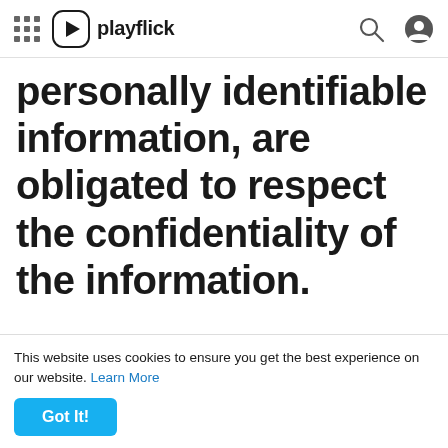playflick
personally identifiable information, are obligated to respect the confidentiality of the information.
❖ Privacy
Playflick...
This website uses cookies to ensure you get the best experience on our website. Learn More
consent. With your consent,